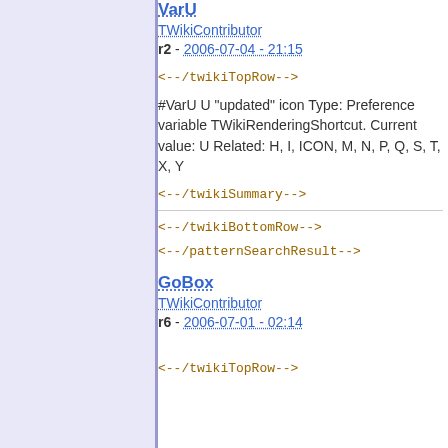VarU
TWikiContributor
r2 - 2006-07-04 - 21:15
<!--/twikiTopRow-->
#VarU U "updated" icon Type: Preference variable TWikiRenderingShortcut. Current value: U Related: H, I, ICON, M, N, P, Q, S, T, X, Y
<!--/twikiSummary-->
<!--/twikiBottomRow-->
<!--/patternSearchResult-->
GoBox
TWikiContributor
r6 - 2006-07-01 - 02:14
<!--/twikiTopRow-->